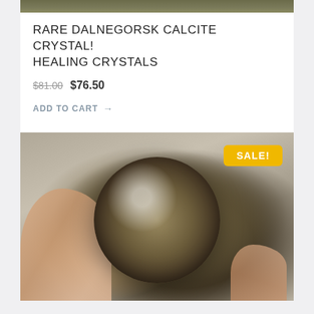[Figure (photo): Top portion of a product photo showing a crystal/mineral specimen, partially cropped at the top of the card.]
RARE DALNEGORSK CALCITE CRYSTAL! HEALING CRYSTALS
$81.00 $76.50
ADD TO CART →
[Figure (photo): A hand holding a round sphere-shaped mineral/crystal stone with a mosaic-like surface pattern of brown, beige, and grey tones. A yellow 'SALE!' badge appears in the top right corner of the image.]